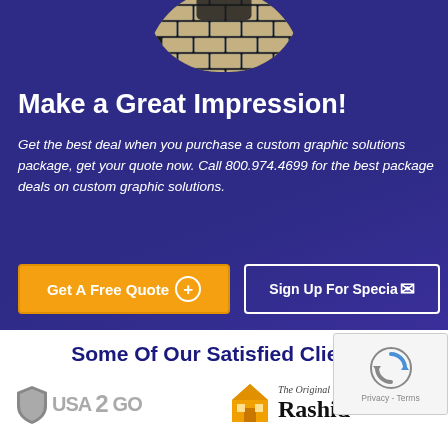[Figure (photo): Circular cropped image showing paver brickwork/driveway pattern at the top center of the blue section]
Make a Great Impression!
Get the best deal when you purchase a custom graphic solutions package, get your quote now. Call 800.974.4699 for the best package deals on custom graphic solutions.
Get A Free Quote+
Sign Up For Specials
Some Of Our Satisfied Clients:
[Figure (logo): USA2GO logo with shield graphic]
[Figure (logo): The Original Rashid Construction logo with house icon]
[Figure (other): reCAPTCHA badge with Privacy and Terms text]